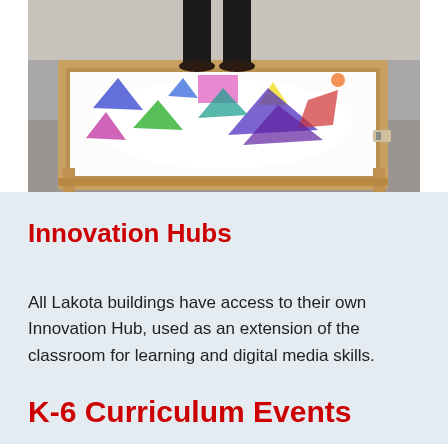[Figure (photo): Photo of a person standing next to a light table with colorful translucent geometric shapes (triangles and rectangles) arranged on its glowing white surface. The table has a wooden frame.]
Innovation Hubs
All Lakota buildings have access to their own Innovation Hub, used as an extension of the classroom for learning and digital media skills.
K-6 Curriculum Events